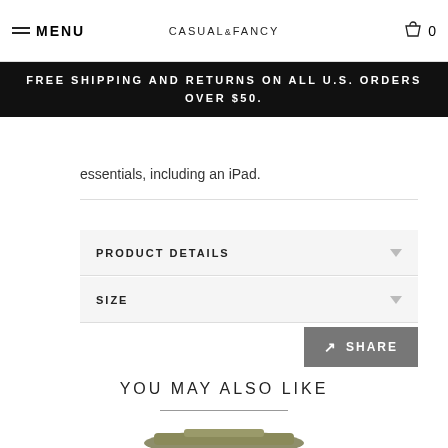MENU | CASUAL&FANCY | 0
FREE SHIPPING AND RETURNS ON ALL U.S. ORDERS OVER $50.
essentials, including an iPad.
PRODUCT DETAILS
SIZE
SHARE
YOU MAY ALSO LIKE
[Figure (photo): Product image partially visible at bottom of page - olive green bag]